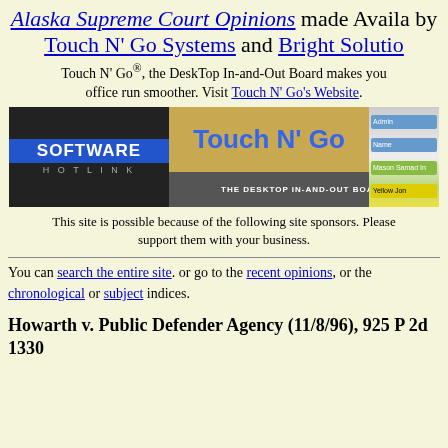Alaska Supreme Court Opinions made Available by Touch N' Go Systems and Bright Solutions
Touch N' Go®, the DeskTop In-and-Out Board makes your office run smoother. Visit Touch N' Go's Website.
[Figure (screenshot): Banner advertisement for Software Hotlink / Touch N' Go The Desktop In-and-Out Board]
This site is possible because of the following site sponsors. Please support them with your business.
You can search the entire site. or go to the recent opinions, or the chronological or subject indices.
Howarth v. Public Defender Agency (11/8/96), 925 P 2d 1330